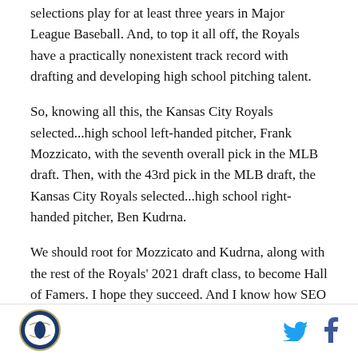selections play for at least three years in Major League Baseball. And, to top it all off, the Royals have a practically nonexistent track record with drafting and developing high school pitching talent.
So, knowing all this, the Kansas City Royals selected...high school left-handed pitcher, Frank Mozzicato, with the seventh overall pick in the MLB draft. Then, with the 43rd pick in the MLB draft, the Kansas City Royals selected...high school right-handed pitcher, Ben Kudrna.
We should root for Mozzicato and Kudrna, along with the rest of the Royals' 2021 draft class, to become Hall of Famers. I hope they succeed. And I know how SEO
[Figure (logo): Royals circular logo with baseball design]
[Figure (logo): Twitter bird icon in blue]
[Figure (logo): Facebook f icon in dark blue]